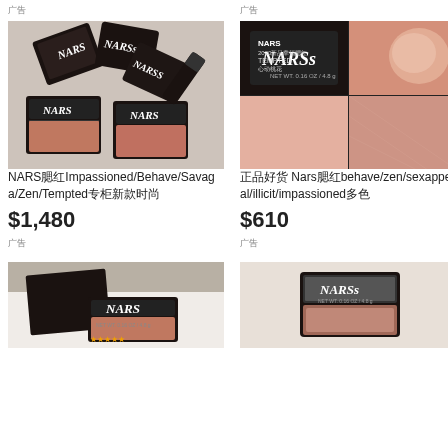广告
广告
[Figure (photo): Multiple NARS blush compacts scattered on a surface showing various shades]
[Figure (photo): NARS blush product collage with 4 quadrants: dark compact top-left, finger swatch top-right, pink powder texture bottom-left, shimmer powder close-up bottom-right. Text overlay: NARS, 2020新品幸福腮红, TEMPTED, 心动桃花]
NARS腮红Impassioned/Behave/Savaga/Zen/Tempted专柜新款时尚
正品好货 Nars腮红behave/zen/sexappeal/illicit/impassioned多色
$1,480
$610
广告
广告
[Figure (photo): NARS compact on white background, partial view]
[Figure (photo): NARS blush compact open showing product, on light background]